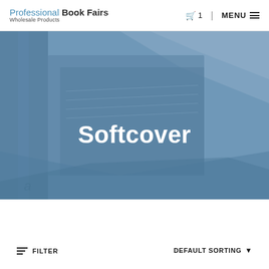Professional Book Fairs Wholesale Products | Cart: 1 | MENU
[Figure (photo): Hero image of softcover books with blue overlay tint, showing stacked soft-cover book spines close-up]
Softcover
FILTER | DEFAULT SORTING